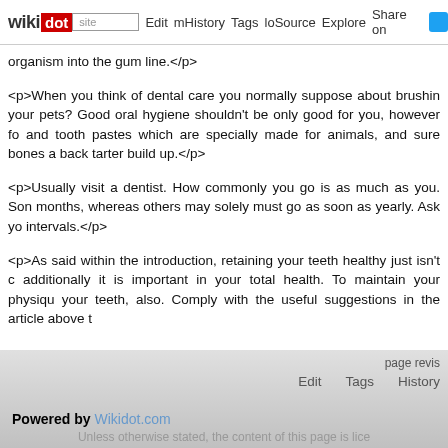wikidot | site | Edit | History | Tags | Source | Explore | Share on Twitter
organism into the gum line.</p>
<p>When you think of dental care you normally suppose about brushing your pets? Good oral hygiene shouldn't be only good for you, however for and tooth pastes which are specially made for animals, and sure bones a back tarter build up.</p>
<p>Usually visit a dentist. How commonly you go is as much as you. Som months, whereas others may solely must go as soon as yearly. Ask y intervals.</p>
<p>As said within the introduction, retaining your teeth healthy just isn't c additionally it is important in your total health. To maintain your physiqu your teeth, also. Comply with the useful suggestions in the article above t
Comments: 0
Add a New Comment
page revis | Edit | Tags | History
Powered by Wikidot.com
Unless otherwise stated, the content of this page is lice